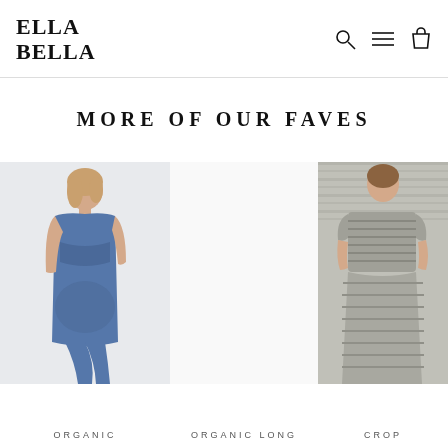ELLA BELLA
MORE OF OUR FAVES
[Figure (photo): Woman wearing blue sleeveless maternity nursing dress]
[Figure (photo): Empty middle product slot with white background]
[Figure (photo): Woman wearing gray striped crop style maternity/nursing dress]
ORGANIC
ORGANIC LONG
CROP